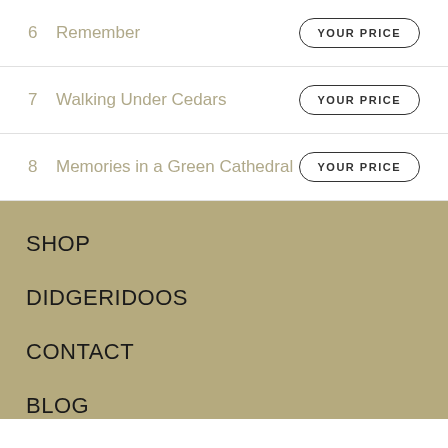6  Remember  YOUR PRICE
7  Walking Under Cedars  YOUR PRICE
8  Memories in a Green Cathedral  YOUR PRICE
SHOP
DIDGERIDOOS
CONTACT
BLOG